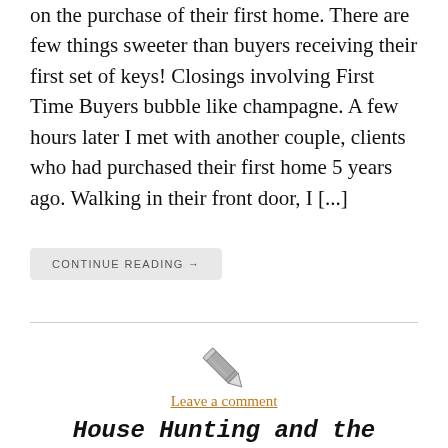on the purchase of their first home. There are few things sweeter than buyers receiving their first set of keys! Closings involving First Time Buyers bubble like champagne. A few hours later I met with another couple, clients who had purchased their first home 5 years ago. Walking in their front door, I [...]
CONTINUE READING →
[Figure (illustration): Pencil icon (edit/write symbol)]
Leave a comment
House Hunting and the Hundred Yard Dash...